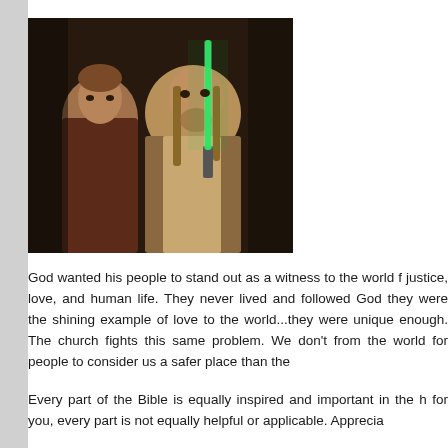[Figure (photo): Two men in Jedi robes from Star Wars, one holding a green lightsaber, standing alert in a dimly lit interior.]
God wanted his people to stand out as a witness to the world for justice, love, and human life. They never lived and followed God so they were the shining example of love to the world...they were unique enough. The church fights this same problem. We don't from the world for people to consider us a safer place than the
Every part of the Bible is equally inspired and important in the h for you, every part is not equally helpful or applicable. Apprecia